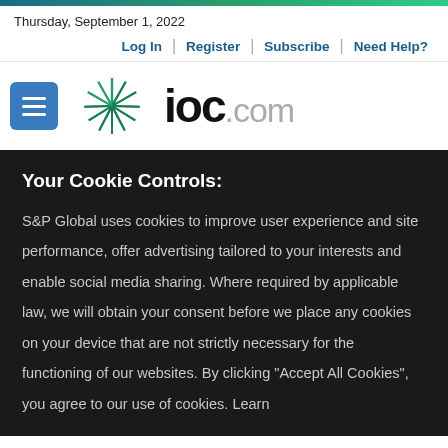Thursday, September 1, 2022
Log In | Register | Subscribe | Need Help?
[Figure (logo): IOC.com logo with S&P Global starburst/spiral graphic icon and hamburger menu button]
Your Cookie Controls:
S&P Global uses cookies to improve user experience and site performance, offer advertising tailored to your interests and enable social media sharing. Where required by applicable law, we will obtain your consent before we place any cookies on your device that are not strictly necessary for the functioning of our websites. By clicking "Accept All Cookies", you agree to our use of cookies. Learn